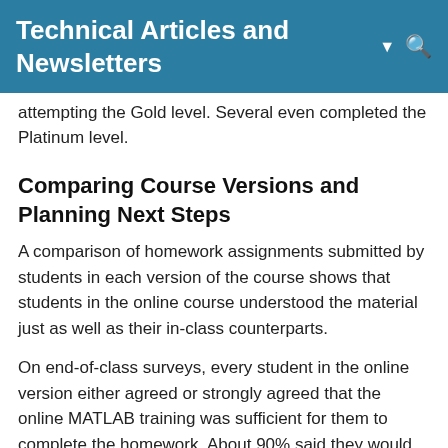Technical Articles and Newsletters
attempting the Gold level. Several even completed the Platinum level.
Comparing Course Versions and Planning Next Steps
A comparison of homework assignments submitted by students in each version of the course shows that students in the online course understood the material just as well as their in-class counterparts.
On end-of-class surveys, every student in the online version either agreed or strongly agreed that the online MATLAB training was sufficient for them to complete the homework. About 90% said they would recommend the course—a significant improvement over several years ago, when about 65% said they would recommend the classroom version. The survey responses also showed that the students appreciated the flexibility of the online version.